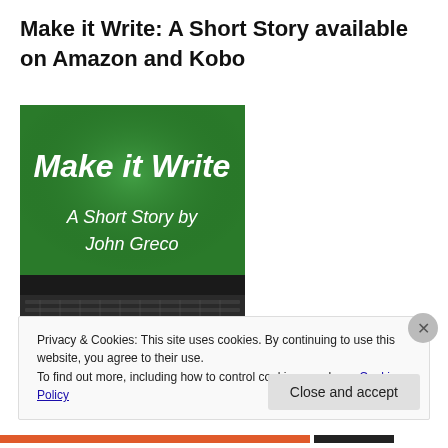Make it Write: A Short Story available on Amazon and Kobo
[Figure (photo): Book cover of 'Make it Write: A Short Story by John Greco' displayed on a laptop keyboard. The cover has a green background with white script-style text reading 'Make it Write' at the top and 'A Short Story by John Greco' in the center.]
Privacy & Cookies: This site uses cookies. By continuing to use this website, you agree to their use.
To find out more, including how to control cookies, see here: Cookie Policy
Close and accept